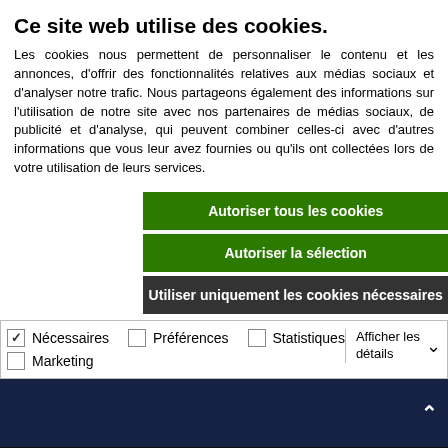Ce site web utilise des cookies.
Les cookies nous permettent de personnaliser le contenu et les annonces, d'offrir des fonctionnalités relatives aux médias sociaux et d'analyser notre trafic. Nous partageons également des informations sur l'utilisation de notre site avec nos partenaires de médias sociaux, de publicité et d'analyse, qui peuvent combiner celles-ci avec d'autres informations que vous leur avez fournies ou qu'ils ont collectées lors de votre utilisation de leurs services.
Autoriser tous les cookies
Autoriser la sélection
Utiliser uniquement les cookies nécessaires
Nécessaires  Préférences  Statistiques  Marketing  Afficher les détails
Follow us !